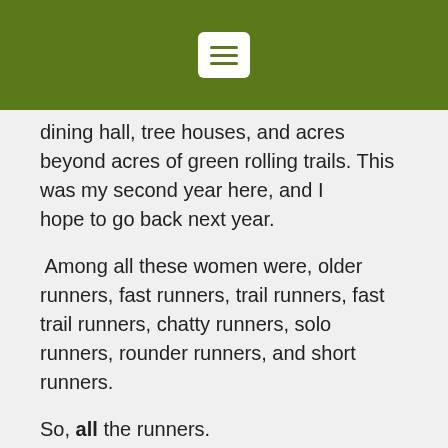[Figure (other): Green header bar with white hamburger menu button]
dining hall, tree houses, and acres beyond acres of green rolling trails. This was my second year here, and I hope to go back next year.
Among all these women were, older runners, fast runners, trail runners, fast trail runners, chatty runners, solo runners, rounder runners, and short runners.
So, all the runners.
As I watched all of these women cruise around the grounds, I remembered an exercise I had done a few months ago reading Brene Brown's Dare To Lead. The exercise is a huge list of values, and you have to pick 2-3 that you hold in your hand and define who you are. The thing is that all the values are equally valid,